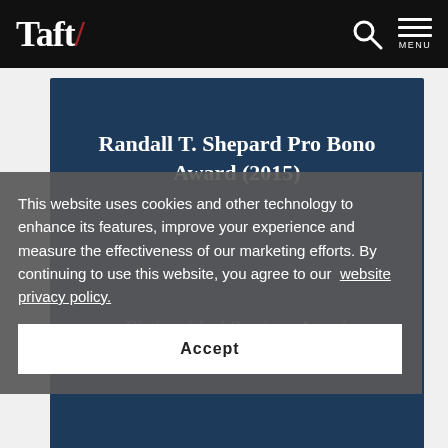Taft/
Randall T. Shepard Pro Bono Award (2015)
Distinguished Barrister Award, Leadership in Law (2011)
This website uses cookies and other technology to enhance its features, improve your experience and measure the effectiveness of our marketing efforts. By continuing to use this website, you agree to our website privacy policy.
Accept